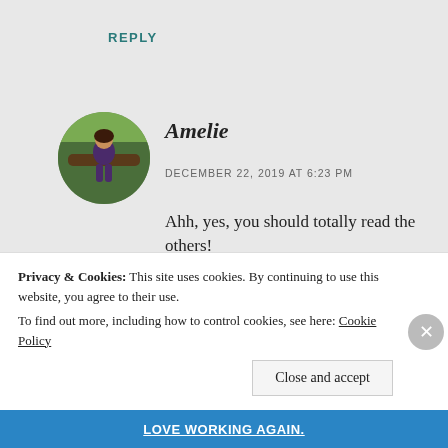REPLY
[Figure (photo): Circular avatar photo of a person named Amelie sitting in a tree outdoors]
Amelie
DECEMBER 22, 2019 AT 6:23 PM
Ahh, yes, you should totally read the others!
The Mandalorian is really good!! The only one I have not liked so far is the sixth episode.
Privacy & Cookies: This site uses cookies. By continuing to use this website, you agree to their use.
To find out more, including how to control cookies, see here: Cookie Policy
Close and accept
Love working again.